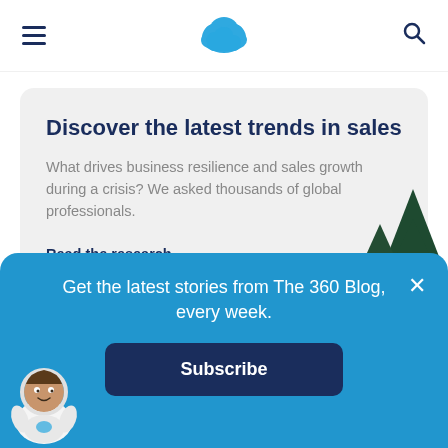[Figure (logo): Salesforce cloud logo in blue, centered in top navigation bar]
Discover the latest trends in sales
What drives business resilience and sales growth during a crisis? We asked thousands of global professionals.
Read the research →
[Figure (illustration): Dark green pine trees illustration in bottom right area of the card]
Get the latest stories from The 360 Blog, every week.
Subscribe
[Figure (illustration): Salesforce mascot character (Astro) in astronaut suit, bottom left corner of blue banner]